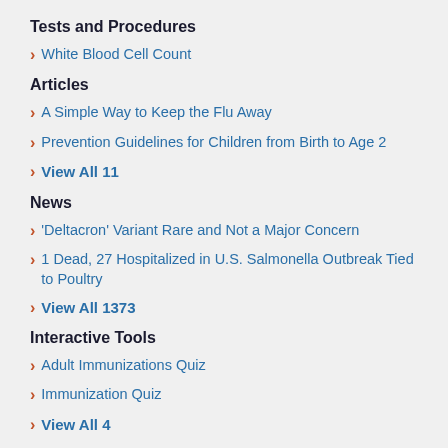Tests and Procedures
White Blood Cell Count
Articles
A Simple Way to Keep the Flu Away
Prevention Guidelines for Children from Birth to Age 2
View All 11
News
‘Deltacron’ Variant Rare and Not a Major Concern
1 Dead, 27 Hospitalized in U.S. Salmonella Outbreak Tied to Poultry
View All 1373
Interactive Tools
Adult Immunizations Quiz
Immunization Quiz
View All 4